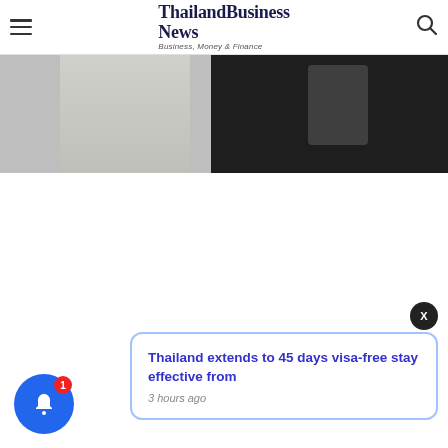ThailandBusiness News — Business, Money & Finance
[Figure (photo): Split hero image: left half shows a light grey background (person in white shirt), right half shows a dark background (person with white towel)]
Thailand extends to 45 days visa-free stay effective from
3 hours ago